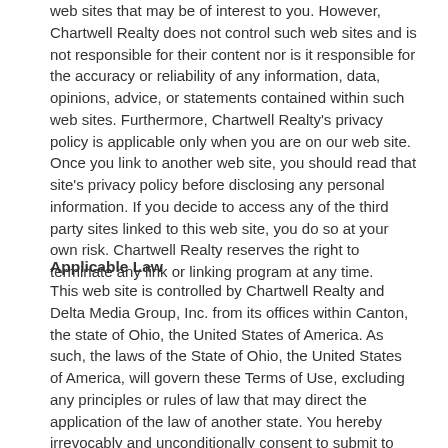web sites that may be of interest to you. However, Chartwell Realty does not control such web sites and is not responsible for their content nor is it responsible for the accuracy or reliability of any information, data, opinions, advice, or statements contained within such web sites. Furthermore, Chartwell Realty's privacy policy is applicable only when you are on our web site. Once you link to another web site, you should read that site's privacy policy before disclosing any personal information. If you decide to access any of the third party sites linked to this web site, you do so at your own risk. Chartwell Realty reserves the right to terminate any link or linking program at any time.
Applicable Law
This web site is controlled by Chartwell Realty and Delta Media Group, Inc. from its offices within Canton, the state of Ohio, the United States of America. As such, the laws of the State of Ohio, the United States of America, will govern these Terms of Use, excluding any principles or rules of law that may direct the application of the law of another state. You hereby irrevocably and unconditionally consent to submit to the exclusive jurisdiction of the courts of the State of Ohio, the United States of America, for any litigation arising out of or relating to the use of the www.chartwellkc.net web site, waive any objection to the venue of any such litigation in the Ohio courts and agree not to plead or claim in any Ohio court